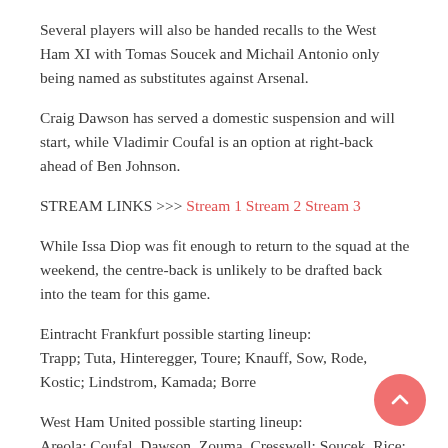Several players will also be handed recalls to the West Ham XI with Tomas Soucek and Michail Antonio only being named as substitutes against Arsenal.
Craig Dawson has served a domestic suspension and will start, while Vladimir Coufal is an option at right-back ahead of Ben Johnson.
STREAM LINKS >>> Stream 1 Stream 2 Stream 3
While Issa Diop was fit enough to return to the squad at the weekend, the centre-back is unlikely to be drafted back into the team for this game.
Eintracht Frankfurt possible starting lineup: Trapp; Tuta, Hinteregger, Toure; Knauff, Sow, Rode, Kostic; Lindstrom, Kamada; Borre
West Ham United possible starting lineup: Areola; Coufal, Dawson, Zouma, Cresswell; Soucek, Rice; Bowen, Lanzini, Fornals; Antonio